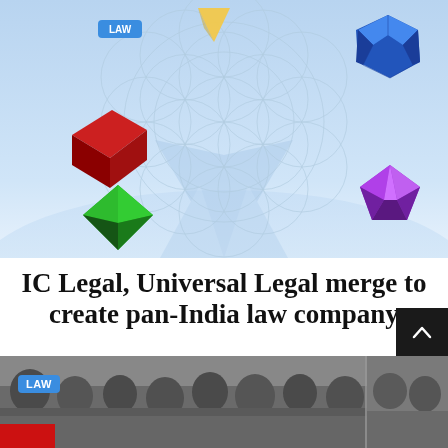[Figure (illustration): Hero banner with light blue background featuring geometric 3D shapes (gold triangle, red cube, green diamond, blue dodecahedron, purple crystal) and a Flower of Life sacred geometry pattern in center with blue star rays]
IC Legal, Universal Legal merge to create pan-India law company
By Mary R. Hargis  -  June 24, 2022
[Figure (photo): Partial photo showing a group of people/students in a room, partially visible at the bottom of the page, with a LAW badge overlay]